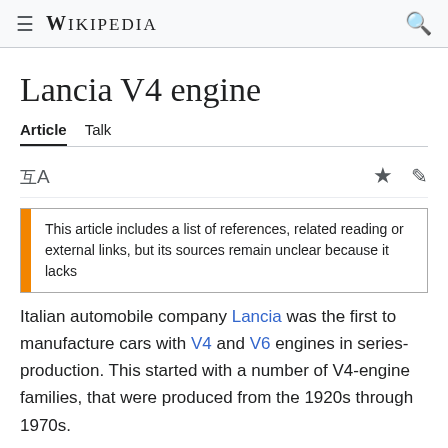≡  WIKIPEDIA  🔍
Lancia V4 engine
Article   Talk
This article includes a list of references, related reading or external links, but its sources remain unclear because it lacks
Italian automobile company Lancia was the first to manufacture cars with V4 and V6 engines in series-production. This started with a number of V4-engine families, that were produced from the 1920s through 1970s.
Lancia V4 engine